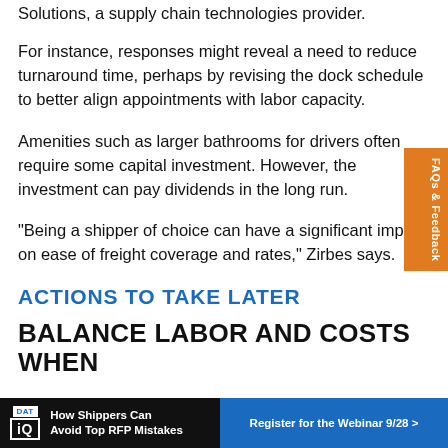For instance, responses might reveal a need to reduce turnaround time, perhaps by revising the dock schedule to better align appointments with labor capacity.
Amenities such as larger bathrooms for drivers often require some capital investment. However, the investment can pay dividends in the long run.
"Being a shipper of choice can have a significant impact on ease of freight coverage and rates," Zirbes says.
ACTIONS TO TAKE LATER
BALANCE LABOR AND COSTS WHEN
[Figure (infographic): DAT IQ advertisement banner: 'How Shippers Can Avoid Top RFP Mistakes' with 'Register for the Webinar 9/28 >' button]